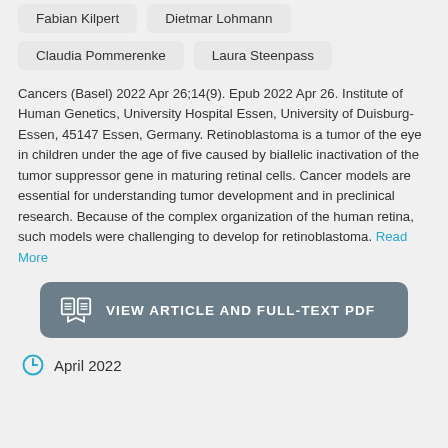Fabian Kilpert
Dietmar Lohmann
Claudia Pommerenke
Laura Steenpass
Cancers (Basel) 2022 Apr 26;14(9). Epub 2022 Apr 26. Institute of Human Genetics, University Hospital Essen, University of Duisburg-Essen, 45147 Essen, Germany. Retinoblastoma is a tumor of the eye in children under the age of five caused by biallelic inactivation of the tumor suppressor gene in maturing retinal cells. Cancer models are essential for understanding tumor development and in preclinical research. Because of the complex organization of the human retina, such models were challenging to develop for retinoblastoma. Read More
VIEW ARTICLE AND FULL-TEXT PDF
April 2022